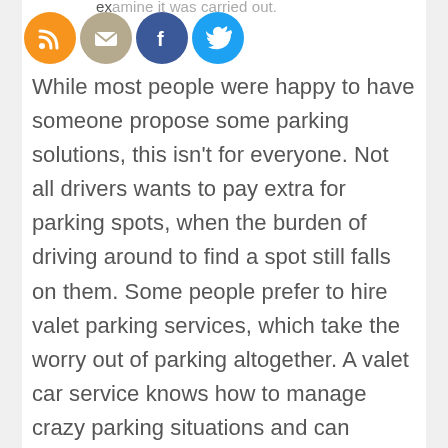[Figure (illustration): Four social media icon circles: RSS (orange), Email (tan/beige), Facebook (blue), Twitter (light blue)]
While most people were happy to have someone propose some parking solutions, this isn't for everyone. Not all drivers wants to pay extra for parking spots, when the burden of driving around to find a spot still falls on them. Some people prefer to hire valet parking services, which take the worry out of parking altogether. A valet car service knows how to manage crazy parking situations and can navigate the busy streets of a large city like Los Angeles. Additionally, event valet parking usually has a specific area where they can park their customers' cars, so finding a suitable parking spot